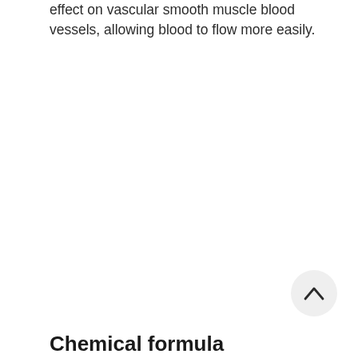effect on vascular smooth muscle blood vessels, allowing blood to flow more easily.
Chemical formula